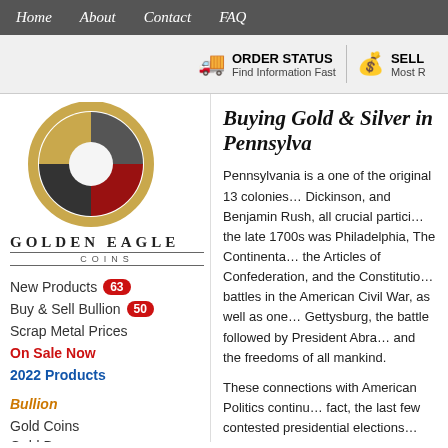Home  About  Contact  FAQ
[Figure (logo): Golden Eagle Coins logo — a circular emblem with gold, dark gray, and red segments, with text GOLDEN EAGLE COINS below]
New Products  63
Buy & Sell Bullion  50
Scrap Metal Prices
On Sale Now
2022 Products
Bullion
Gold Coins
Gold Bars
Silver Coins
Silver Bars
Platinum
Palladium
Buying Gold & Silver in Pennsylvania
Pennsylvania is a one of the original 13 colonies... Dickinson, and Benjamin Rush, all crucial participants... the late 1700s was Philadelphia, The Continental... the Articles of Confederation, and the Constitution... battles in the American Civil War, as well as one... Gettysburg, the battle followed by President Abraham... and the freedoms of all mankind.
These connections with American Politics continue... fact, the last few contested presidential elections... This was very important during President George... republican and democrats, there are only a small...
Another consistent attribute of Pennsylvania is th... and Bethlehem in the Northeast to Pittsburgh in t...